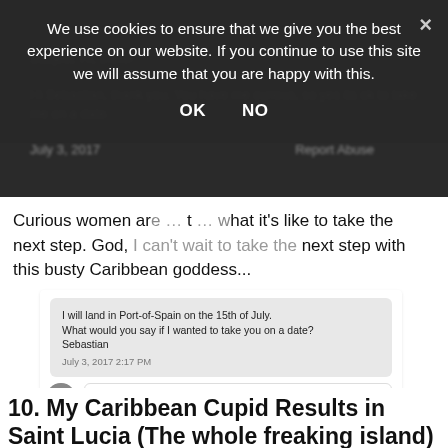We use cookies to ensure that we give you the best experience on our website. If you continue to use this site we will assume that you are happy with this.
OK   NO
Curious women and want to know what it's like to take the next step. God, I can't wait to take the next step with this busty Caribbean goddess...
[Figure (screenshot): Screenshot of a dating site message exchange. Sent message: 'I will land in Port-of-Spain on the 15th of July. What would you say if I wanted to take you on a date? Sebastian' dated July 3, 2017 2:17 PM. Reply with subject 'Hi, there!': 'Hi Sebastian, thank you. You have me curious, so yes its ok to take me on a date.' dated July 4, 2017 5:34 AM with Translate link and Report Abuse button.]
10. My Caribbean Cupid Results in Saint Lucia (The whole freaking island)